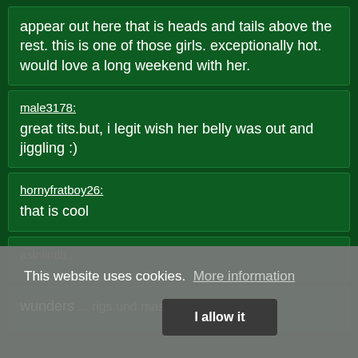appear out here that is heads and tails above the rest. this is one of those girls. exceptionally hot. would love a long weekend with her.
male3178: great tits.but, i legit wish her belly was out and jiggling :)
hornyfratboy26: that is cool
This website uses cookies. More information
I allow it